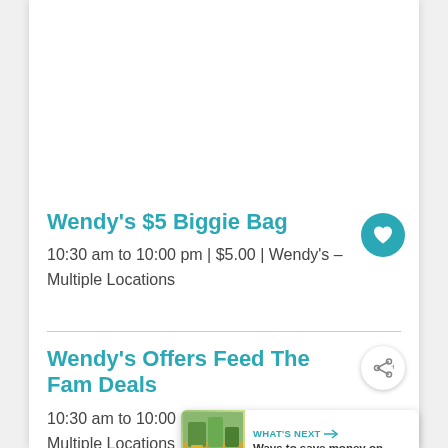Wendy's $5 Biggie Bag
10:30 am to 10:00 pm | $5.00 | Wendy's – Multiple Locations
Wendy's Offers Feed The Fam Deals
10:30 am to 10:00 pm | $15.00 | Wendy's – Multiple Locations